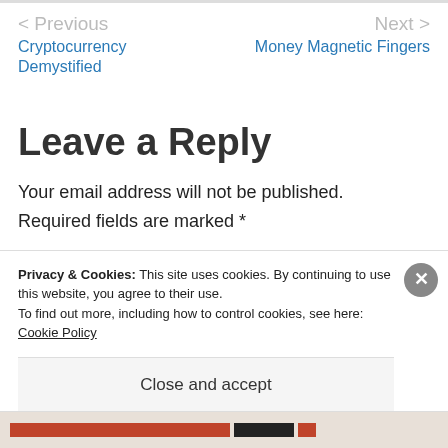< Previous | Next >
Cryptocurrency Demystified
Money Magnetic Fingers
Leave a Reply
Your email address will not be published.
Required fields are marked *
Privacy & Cookies: This site uses cookies. By continuing to use this website, you agree to their use.
To find out more, including how to control cookies, see here: Cookie Policy
Close and accept